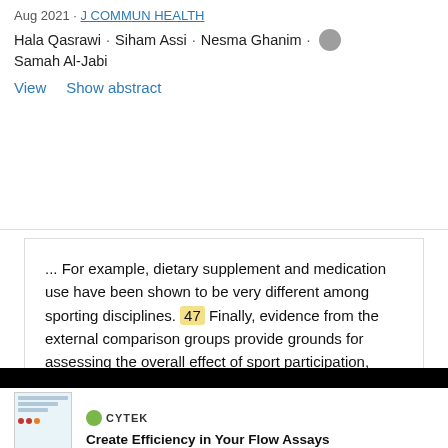Aug 2021 · J COMMUN HEALTH
Hala Qasrawi · Siham Assi · Nesma Ghanim · Samah Al-Jabi
View   Show abstract
... For example, dietary supplement and medication use have been shown to be very different among sporting disciplines. 47 Finally, evidence from the external comparison groups provide grounds for assessing the overall effect of sport participation, including all pros and
Learn how to best influence lab equipment purchasing behavior
Create Efficiency in Your Flow Assays